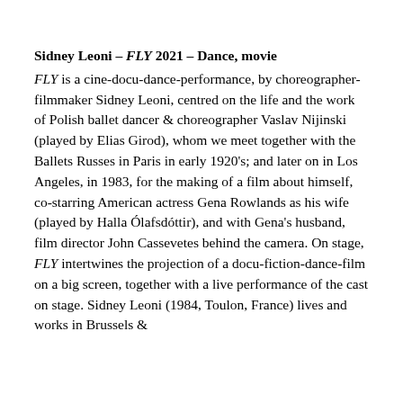Sidney Leoni – FLY 2021 – Dance, movie
FLY is a cine-docu-dance-performance, by choreographer-filmmaker Sidney Leoni, centred on the life and the work of Polish ballet dancer & choreographer Vaslav Nijinski (played by Elias Girod), whom we meet together with the Ballets Russes in Paris in early 1920's; and later on in Los Angeles, in 1983, for the making of a film about himself, co-starring American actress Gena Rowlands as his wife (played by Halla Ólafsdóttir), and with Gena's husband, film director John Cassevetes behind the camera. On stage, FLY intertwines the projection of a docu-fiction-dance-film on a big screen, together with a live performance of the cast on stage. Sidney Leoni (1984, Toulon, France) lives and works in Brussels &